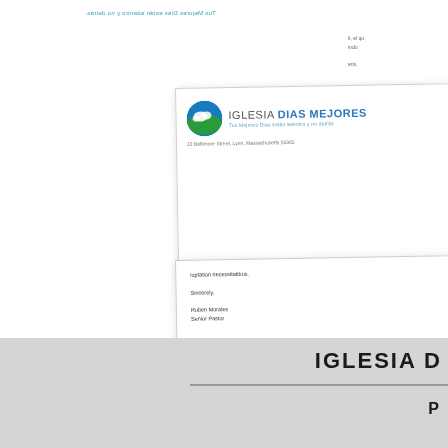[Figure (illustration): Document design preview showing two overlapping document pages (a letterhead/envelope and a letter) with Iglesia Dias Mejores branding, partially visible text content including 'Sincerely, Ruben Morales, Senior Pastor' and a footer with phone/address. Below the documents is a gray bar with the text 'IGLESIA D' (cropped) and a horizontal rule, then 'P' (partially visible).]
IGLESIA D
P